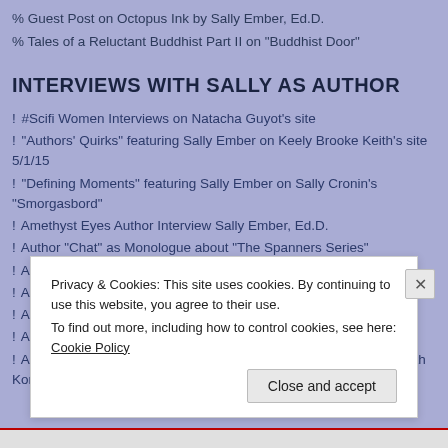% Guest Post on Octopus Ink by Sally Ember, Ed.D.
% Tales of a Reluctant Buddhist Part II on "Buddhist Door"
INTERVIEWS WITH SALLY AS AUTHOR
! #Scifi Women Interviews on Natacha Guyot's site
! "Authors' Quirks" featuring Sally Ember on Keely Brooke Keith's site 5/1/15
! "Defining Moments" featuring Sally Ember on Sally Cronin's "Smorgasbord"
! Amethyst Eyes Author Interview Sally Ember, Ed.D.
! Author "Chat" as Monologue about "The Spanners Series"
! Author Interview Blog Talk Radio Indie Books Show
! Author Interview Sally Ember with Barry Eva
! Author Interview with Sally Ember in "The Write Stuff" series
! Author Interview with Sally Ember on Megan Cyrulewski's Site
! Author Interview with Sally Ember, Ed.D., on Back Porch Writer with Kori D. Miller,
Privacy & Cookies: This site uses cookies. By continuing to use this website, you agree to their use.
To find out more, including how to control cookies, see here: Cookie Policy
Close and accept